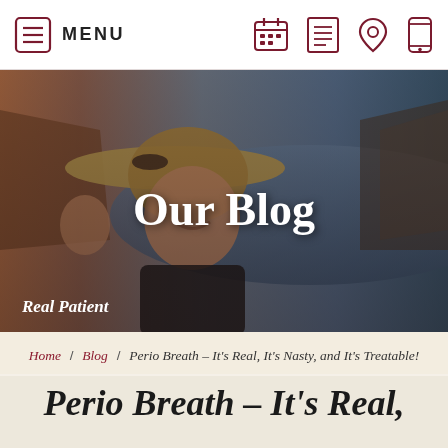MENU | [calendar icon] [list icon] [location icon] [phone icon]
[Figure (photo): Hero banner photo of an elderly woman in a wide-brimmed straw hat, smiling, with a lakeside mountain landscape in the background. Text overlay reads 'Our Blog' and 'Real Patient'.]
Our Blog
Real Patient
Home / Blog / Perio Breath – It's Real, It's Nasty, and It's Treatable!
Perio Breath – It's Real,